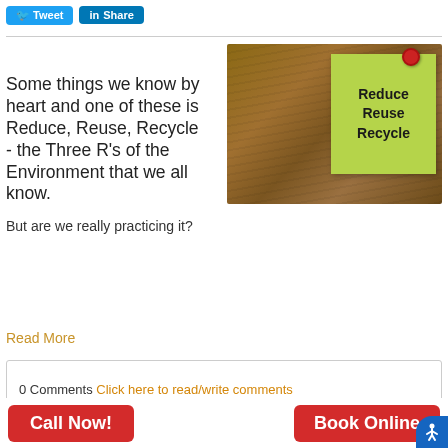Tweet  Share
[Figure (photo): A green sticky note pinned with a red pushpin to a wooden background, with text reading 'Reduce Reuse Recycle' in a bold handwritten style.]
Some things we know by heart and one of these is Reduce, Reuse, Recycle - the Three R's of the Environment that we all know.
But are we really practicing it?
Read More
0 Comments Click here to read/write comments
Call Now!  Book Online